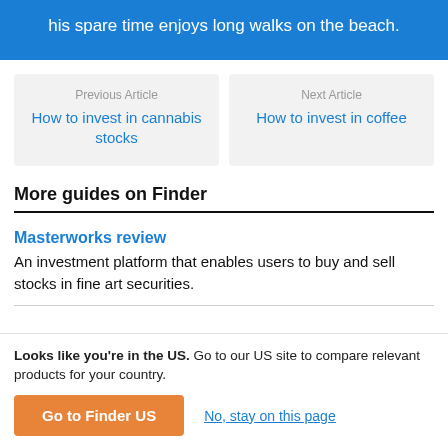his spare time enjoys long walks on the beach.
Previous Article
How to invest in cannabis stocks
Next Article
How to invest in coffee
More guides on Finder
Masterworks review
An investment platform that enables users to buy and sell stocks in fine art securities.
Looks like you're in the US. Go to our US site to compare relevant products for your country.
Go to Finder US
No, stay on this page